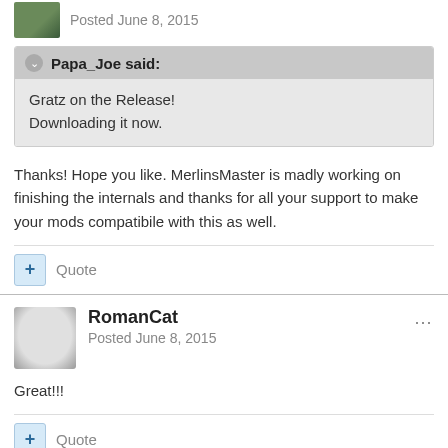Posted June 8, 2015
Papa_Joe said:
Gratz on the Release!
Downloading it now.
Thanks! Hope you like. MerlinsMaster is madly working on finishing the internals and thanks for all your support to make your mods compatibile with this as well.
Quote
RomanCat
Posted June 8, 2015
Great!!!
Quote